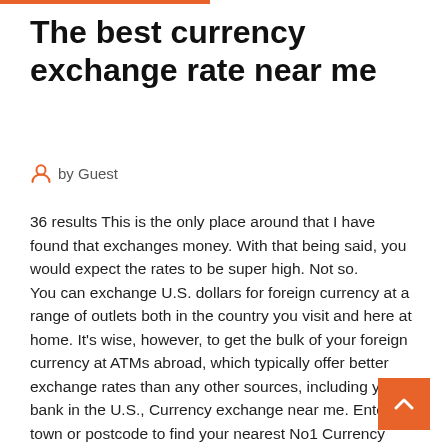The best currency exchange rate near me
by Guest
36 results This is the only place around that I have found that exchanges money. With that being said, you would expect the rates to be super high. Not so.
You can exchange U.S. dollars for foreign currency at a range of outlets both in the country you visit and here at home. It's wise, however, to get the bulk of your foreign currency at ATMs abroad, which typically offer better exchange rates than any other sources, including your bank in the U.S., Currency exchange near me. Enter the town or postcode to find your nearest No1 Currency exchange store. Alternatively click on the map to drill down. In order to give you the best experience our website uses cookies to personalise content and ads, to provide social media features and to analyse our traffic. Find the best foreign exchange rates for currency exchange.